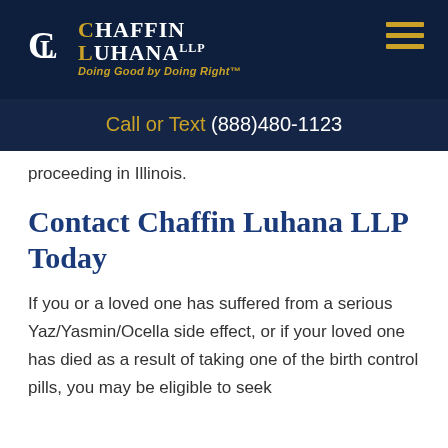[Figure (logo): Chaffin Luhana LLP logo with CL monogram, firm name, and tagline 'Doing Good by Doing Right']
Call or Text (888)480-1123
proceeding in Illinois.
Contact Chaffin Luhana LLP Today
If you or a loved one has suffered from a serious Yaz/Yasmin/Ocella side effect, or if your loved one has died as a result of taking one of the birth control pills, you may be eligible to seek